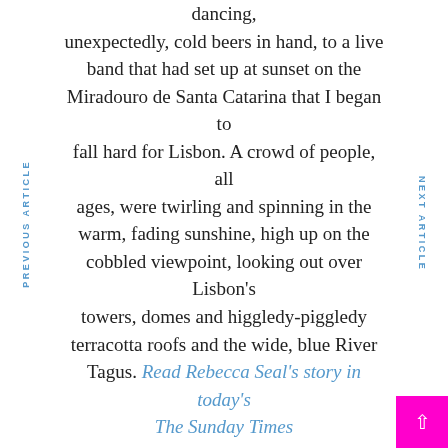dancing, unexpectedly, cold beers in hand, to a live band that had set up at sunset on the Miradouro de Santa Catarina that I began to fall hard for Lisbon. A crowd of people, all ages, were twirling and spinning in the warm, fading sunshine, high up on the cobbled viewpoint, looking out over Lisbon’s towers, domes and higgledy-piggledy terracotta roofs and the wide, blue River Tagus. Read Rebecca Seal’s story in today’s The Sunday Times
PREVIOUS ARTICLE
NEXT ARTICLE
The best way to spend a Sunday Morning is along the